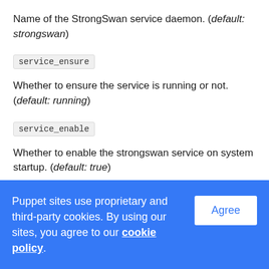Name of the StrongSwan service daemon. (default: strongswan)
service_ensure
Whether to ensure the service is running or not. (default: running)
service_enable
Whether to enable the strongswan service on system startup. (default: true)
Puppet sites use proprietary and third-party cookies. By using our sites, you agree to our cookie policy.